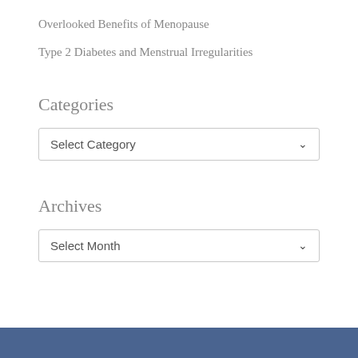Overlooked Benefits of Menopause
Type 2 Diabetes and Menstrual Irregularities
Categories
Select Category
Archives
Select Month